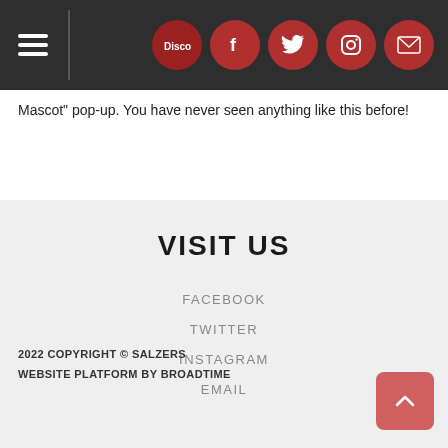Navigation and social icons header bar
Mascot" pop-up. You have never seen anything like this before!
VISIT US
FACEBOOK
TWITTER
INSTAGRAM
EMAIL
2022 COPYRIGHT © SALZERS
WEBSITE PLATFORM BY BROADTIME